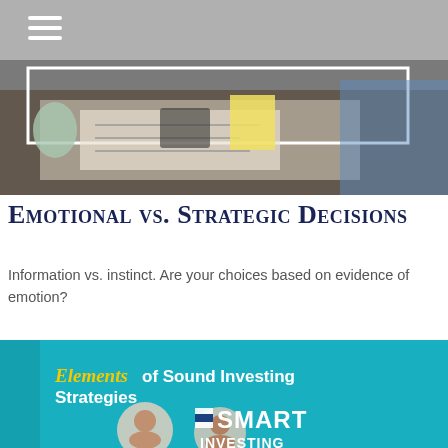[Figure (photo): Person reviewing financial documents at a desk with a coffee mug, papers, and calculator in the background. A white rectangular frame overlay is visible on the image.]
Emotional vs. Strategic Decisions
Information vs. instinct. Are your choices based on evidence of emotion?
[Figure (photo): A teal booklet or tablet screen showing 'Elements of Sound Investing Strategies' with circular portrait photos of people and text reading 'SMART INVESTING' at the bottom with a logo.]